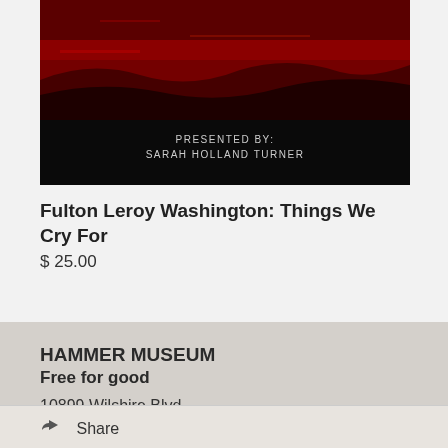[Figure (photo): Book cover image with dark red and black coloring, text reads 'PRESENTED BY: SARAH HOLLAND TURNER']
Fulton Leroy Washington: Things We Cry For
$ 25.00
HAMMER MUSEUM
Free for good
10899 Wilshire Blvd.
Los Angeles, CA
90024
Share